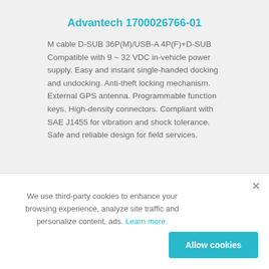Advantech 1700026766-01
M cable D-SUB 36P(M)/USB-A 4P(F)+D-SUB Compatible with 9 ~ 32 VDC in-vehicle power supply. Easy and instant single-handed docking and undocking. Anti-theft locking mechanism. External GPS antenna. Programmable function keys. High-density connectors. Compliant with SAE J1455 for vibration and shock tolerance. Safe and reliable design for field services.
We use third-party cookies to enhance your browsing experience, analyze site traffic and personalize content, ads. Learn more.